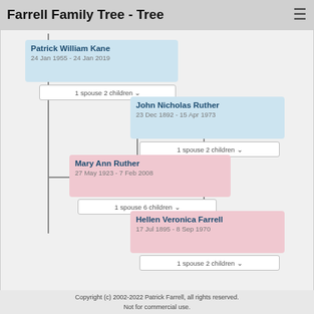Farrell Family Tree - Tree
[Figure (organizational-chart): Family tree diagram showing Patrick William Kane (24 Jan 1955 - 24 Jan 2019) connected to Mary Ann Ruther (27 May 1923 - 7 Feb 2008), whose parents are John Nicholas Ruther (23 Dec 1892 - 15 Apr 1973) and Hellen Veronica Farrell (17 Jul 1895 - 8 Sep 1970). Each person has an expand button showing spouse and children count.]
Copyright (c) 2002-2022 Patrick Farrell, all rights reserved. Not for commercial use.